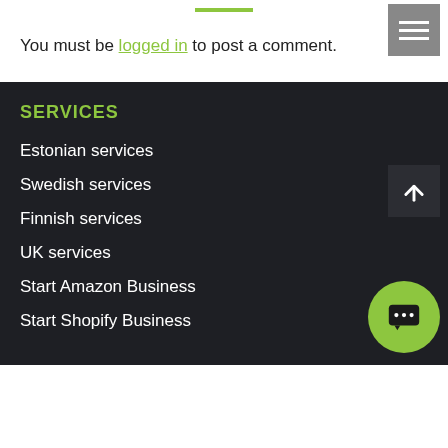You must be logged in to post a comment.
SERVICES
Estonian services
Swedish services
Finnish services
UK services
Start Amazon Business
Start Shopify Business